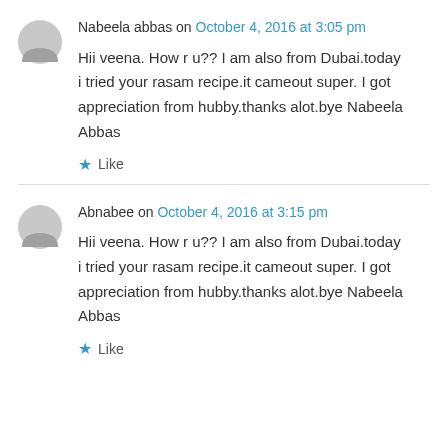Nabeela abbas on October 4, 2016 at 3:05 pm
Hii veena. How r u?? I am also from Dubai.today i tried your rasam recipe.it cameout super. I got appreciation from hubby.thanks alot.bye Nabeela Abbas
Like
Abnabee on October 4, 2016 at 3:15 pm
Hii veena. How r u?? I am also from Dubai.today i tried your rasam recipe.it cameout super. I got appreciation from hubby.thanks alot.bye Nabeela Abbas
Like